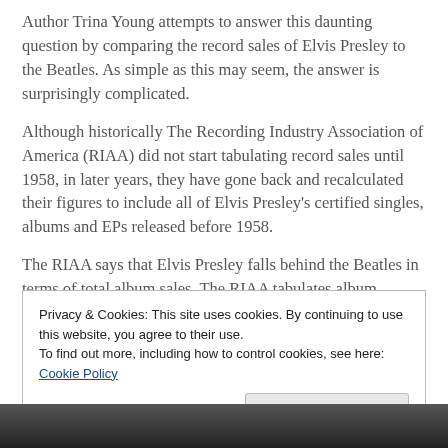Author Trina Young attempts to answer this daunting question by comparing the record sales of Elvis Presley to the Beatles. As simple as this may seem, the answer is surprisingly complicated.
Although historically The Recording Industry Association of America (RIAA) did not start tabulating record sales until 1958, in later years, they have gone back and recalculated their figures to include all of Elvis Presley's certified singles, albums and EPs released before 1958.
The RIAA says that Elvis Presley falls behind the Beatles in terms of total album sales. The RIAA tabulates album
Privacy & Cookies: This site uses cookies. By continuing to use this website, you agree to their use.
To find out more, including how to control cookies, see here: Cookie Policy
[Figure (photo): Black and white photo strip at the bottom of the page]